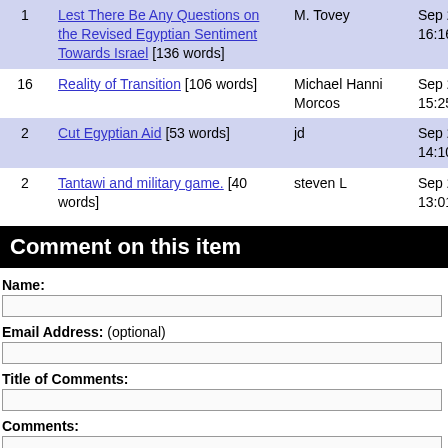| # | Title | Author | Date |
| --- | --- | --- | --- |
| 1 | Lest There Be Any Questions on the Revised Egyptian Sentiment Towards Israel [136 words] | M. Tovey | Sep 28, 2011 16:16 |
| 16 | Reality of Transition [106 words] | Michael Hanni Morcos | Sep 28, 2011 15:25 |
| 2 | Cut Egyptian Aid [53 words] | jd | Sep 28, 2011 14:10 |
| 2 | Tantawi and military game. [40 words] | steven L | Sep 28, 2011 13:01 |
Comment on this item
Name:
Email Address: (optional)
Title of Comments:
Comments: